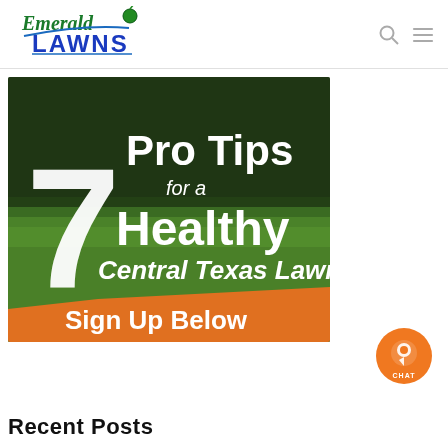[Figure (logo): Emerald Lawns logo — green cursive 'Emerald' with blue bold 'LAWNS' text and a green globe with antenna]
[Figure (infographic): Promotional image over green grass background. Large white '7' on left, 'Pro Tips' in white bold text, 'for a' in smaller white text, 'Healthy' in large white bold, 'Central Texas Lawn' in white bold italic, and orange banner at bottom reading 'Sign Up Below' in white bold.]
[Figure (illustration): Orange circular chat button with white map-pin/chat bubble icon and 'CHAT' text in white]
Recent Posts